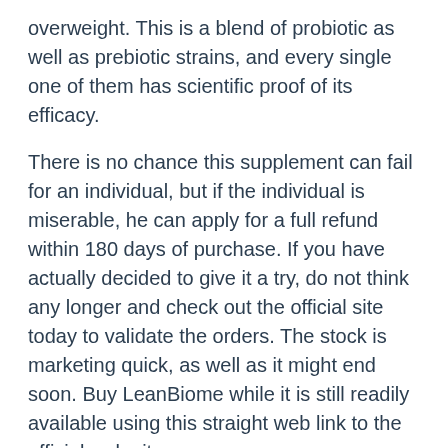overweight. This is a blend of probiotic as well as prebiotic strains, and every single one of them has scientific proof of its efficacy.
There is no chance this supplement can fail for an individual, but if the individual is miserable, he can apply for a full refund within 180 days of purchase. If you have actually decided to give it a try, do not think any longer and check out the official site today to validate the orders. The stock is marketing quick, as well as it might end soon. Buy LeanBiome while it is still readily available using this straight web link to the official web site.
ACT NOW & SAVE. Get